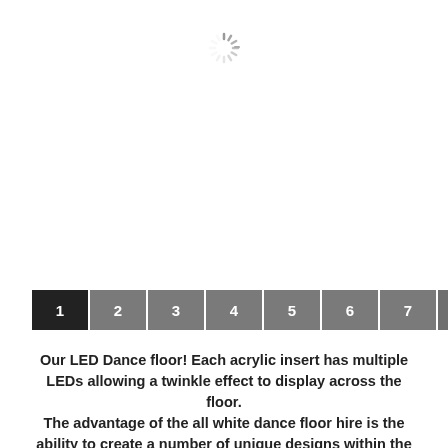[Figure (other): Loading spinner icon at the top of the page]
1 2 3 4 5 6 7 8 9 10 11 12 13 1 (pagination bar)
Our LED Dance floor! Each acrylic insert has multiple LEDs allowing a twinkle effect to display across the floor. The advantage of the all white dance floor hire is the ability to create a number of unique designs within the floor that add that something extra for your event.
A white LED starlit dance floor is the most popular choice for weddings. The elegant, tasteful look of the stunning lit floors sets a beautiful mood and magical atmosphere for your evening reception wherever the setting. If you are looking for the wow factor then this is it! You are probably familiar with the Starlit LED dance floors